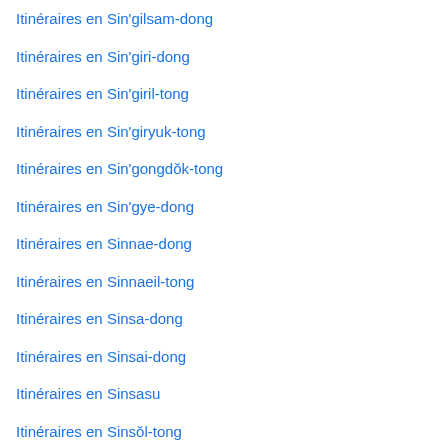Itinéraires en Sin'gilsam-dong
Itinéraires en Sin'giri-dong
Itinéraires en Sin'giril-tong
Itinéraires en Sin'giryuk-tong
Itinéraires en Sin'gongdŏk-tong
Itinéraires en Sin'gye-dong
Itinéraires en Sinnae-dong
Itinéraires en Sinnaeil-tong
Itinéraires en Sinsa-dong
Itinéraires en Sinsai-dong
Itinéraires en Sinsasu
Itinéraires en Sinsŏl-tong
Itinéraires en Sinsu-dong
Itinéraires en Sinwoldong